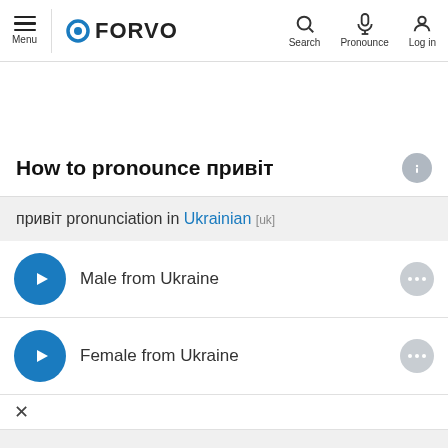Menu | FORVO | Search | Pronounce | Log in
How to pronounce привіт
привіт pronunciation in Ukrainian [uk]
Male from Ukraine
Female from Ukraine